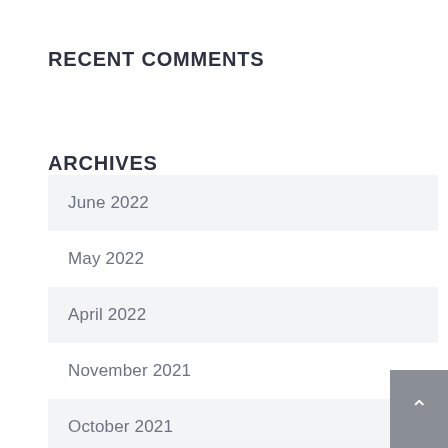RECENT COMMENTS
ARCHIVES
June 2022
May 2022
April 2022
November 2021
October 2021